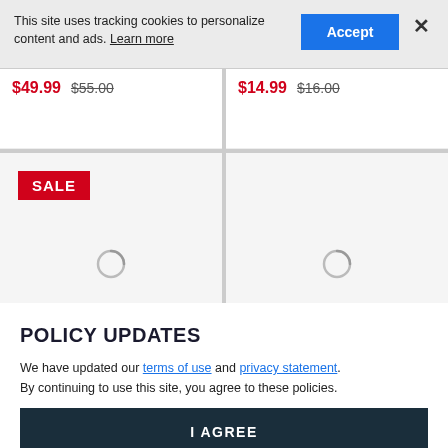This site uses tracking cookies to personalize content and ads. Learn more
$49.99  $55.00
$14.99  $16.00
SALE
POLICY UPDATES
We have updated our terms of use and privacy statement. By continuing to use this site, you agree to these policies.
I AGREE